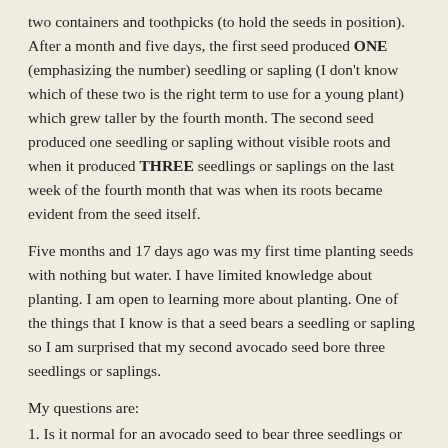two containers and toothpicks (to hold the seeds in position). After a month and five days, the first seed produced ONE (emphasizing the number) seedling or sapling (I don't know which of these two is the right term to use for a young plant) which grew taller by the fourth month. The second seed produced one seedling or sapling without visible roots and when it produced THREE seedlings or saplings on the last week of the fourth month that was when its roots became evident from the seed itself.
Five months and 17 days ago was my first time planting seeds with nothing but water. I have limited knowledge about planting. I am open to learning more about planting. One of the things that I know is that a seed bears a seedling or sapling so I am surprised that my second avocado seed bore three seedlings or saplings.
My questions are:
1. Is it normal for an avocado seed to bear three seedlings or saplings?
a. If yes, would it affect its growth once it is planted on the soil?
b. If not, what should I do?
2. Do you have any recommendation/suggestion/advice for a first timer, like me, when it comes to planting fruit seeds?